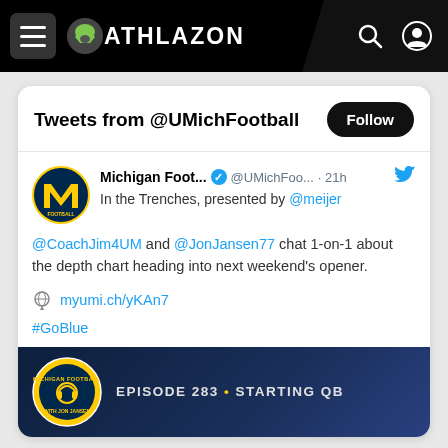Athlazon navigation bar with hamburger menu, logo, search and user icons
Tweets from @UMichFootball
Michigan Foot... @UMichFoo... · 21h
In the Trenches, presented by @meijer

@CoachJim4UM and @JonJansen77 chat 1-on-1 about the depth chart heading into next weekend's opener.

🎙 myumi.ch/yKAn7

#GoBlue
[Figure (screenshot): Michigan Football podcast episode image: dark blue background with Michigan Football circular logo on left and text 'EPISODE 283 • STARTING QB' on right]